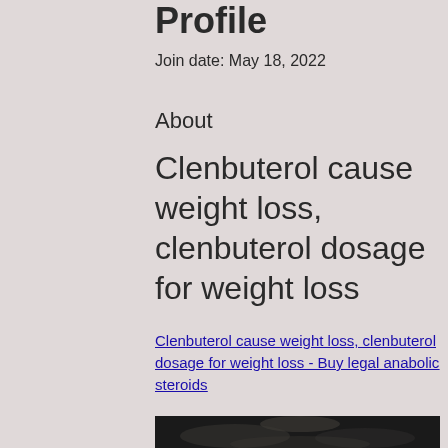Profile
Join date: May 18, 2022
About
Clenbuterol cause weight loss, clenbuterol dosage for weight loss
Clenbuterol cause weight loss, clenbuterol dosage for weight loss - Buy legal anabolic steroids
[Figure (photo): Dark blurred image, partially visible at bottom of page]